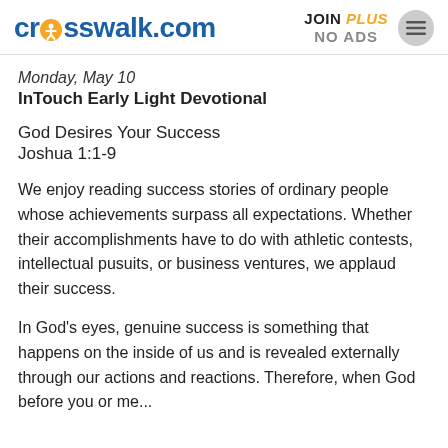crosswalk.com | JOIN PLUS NO ADS
Monday, May 10
InTouch Early Light Devotional
God Desires Your Success
Joshua 1:1-9
We enjoy reading success stories of ordinary people whose achievements surpass all expectations. Whether their accomplishments have to do with athletic contests, intellectual pusuits, or business ventures, we applaud their success.
In God's eyes, genuine success is something that happens on the inside of us and is revealed externally through our actions and reactions. Therefore, when God before you or me...